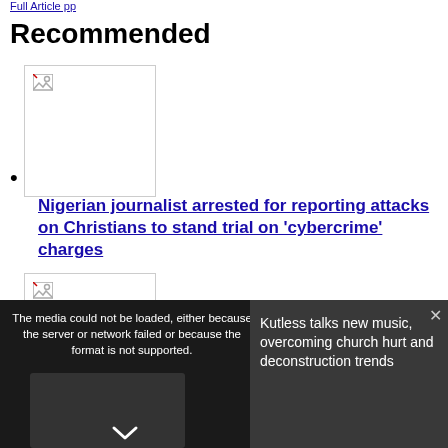Full Article pp
Recommended
[Figure (photo): Broken image thumbnail placeholder for a news article]
Nigerian journalist arrested for reporting attacks on Christians to stand trial on 'cybercrime' charges
[Figure (photo): Broken image thumbnail placeholder for a second news article]
[Figure (screenshot): Media error overlay: 'The media could not be loaded, either because the server or network failed or because the format is not supported.' with video thumbnail of person and text 'Kutless talks new music, overcoming church hurt and deconstruction trends']